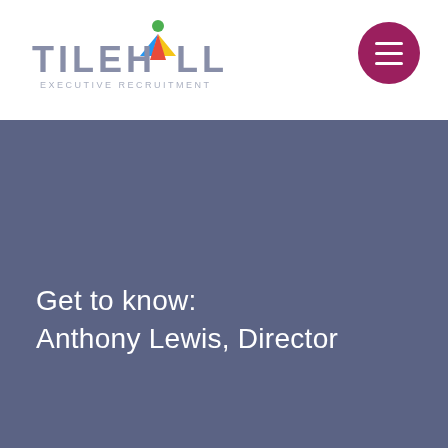[Figure (logo): Tile Hill Executive Recruitment logo with colorful figure icon]
[Figure (other): Dark maroon circular hamburger menu button with three white horizontal lines]
Get to know:
Anthony Lewis, Director